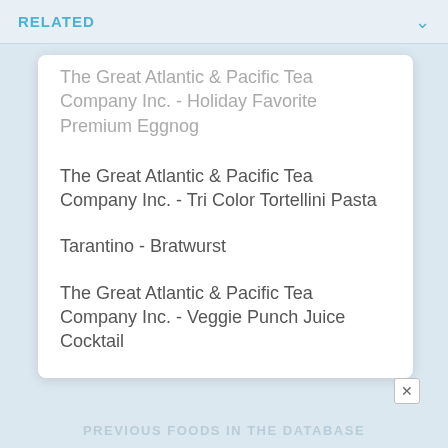RELATED
The Great Atlantic & Pacific Tea Company Inc. - Holiday Favorite Premium Eggnog
The Great Atlantic & Pacific Tea Company Inc. - Tri Color Tortellini Pasta
Tarantino - Bratwurst
The Great Atlantic & Pacific Tea Company Inc. - Veggie Punch Juice Cocktail
PREVIOUS FOODS IN THE DATABASE